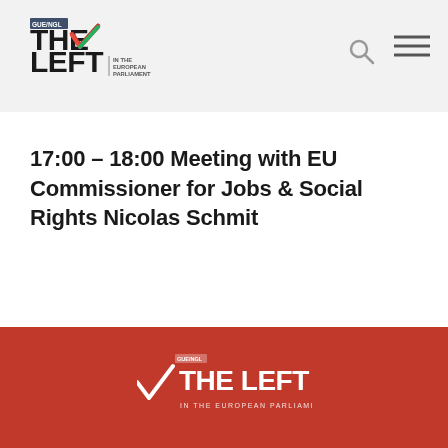GUE/NGL THE LEFT IN THE EUROPEAN PARLIAMENT
17:00 – 18:00 Meeting with EU Commissioner for Jobs & Social Rights Nicolas Schmit
GUE/NGL THE LEFT IN THE EUROPEAN PARLIAMENT